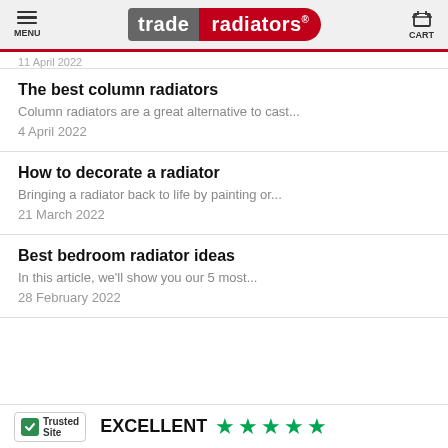MENU | trade radiators | CART
11 April 2022
The best column radiators
Column radiators are a great alternative to cast...
4 April 2022
How to decorate a radiator
Bringing a radiator back to life by painting or...
21 March 2022
Best bedroom radiator ideas
In this article, we'll show you our 5 most...
28 February 2022
TrustedSite EXCELLENT ★★★★☆